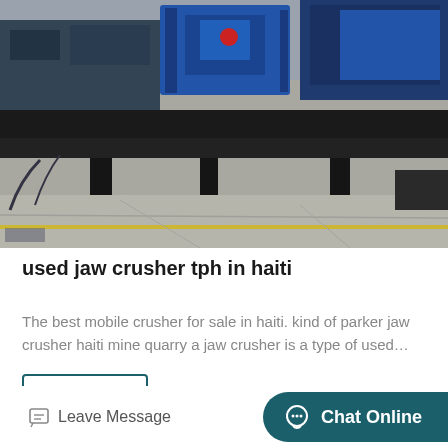[Figure (photo): Industrial mobile jaw crusher machine on a flatbed trailer in an outdoor industrial yard. Heavy blue crushing equipment visible in the background. The foreground shows a large black steel frame mounted on a truck/trailer chassis parked on a concrete surface with painted lines.]
used jaw crusher tph in haiti
The best mobile crusher for sale in haiti. kind of parker jaw crusher haiti mine quarry a jaw crusher is a type of used…
Get Price
Leave Message   Chat Online